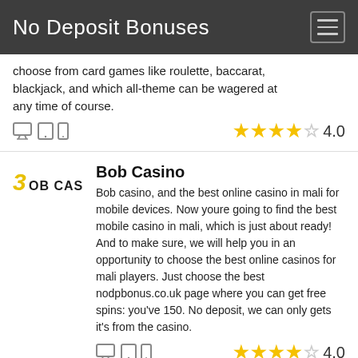No Deposit Bonuses
choose from card games like roulette, baccarat, blackjack, and which all-theme can be wagered at any time of course.
★★★★☆ 4.0
Bob Casino
Bob casino, and the best online casino in mali for mobile devices. Now youre going to find the best mobile casino in mali, which is just about ready! And to make sure, we will help you in an opportunity to choose the best online casinos for mali players. Just choose the best nodpbonus.co.uk page where you can get free spins: you've 150. No deposit, we can only gets it's from the casino.
★★★★☆ 4.0
MagicRed
Magicred is currently working with netent and evolution's leading online casino operators net